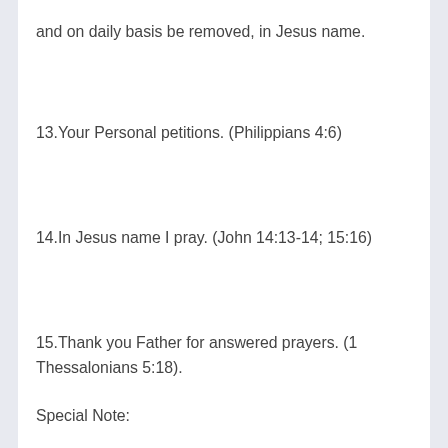and on daily basis be removed, in Jesus name.
13.Your Personal petitions. (Philippians 4:6)
14.In Jesus name I pray. (John 14:13-14; 15:16)
15.Thank you Father for answered prayers. (1 Thessalonians 5:18).
Special Note:
These prayer points are not written by Pastor E. A. Adeboye, but by one his